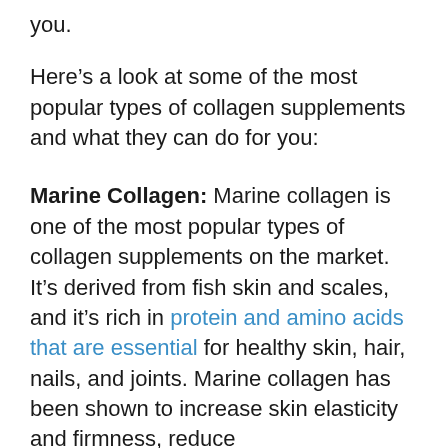you.
Here’s a look at some of the most popular types of collagen supplements and what they can do for you:
Marine Collagen: Marine collagen is one of the most popular types of collagen supplements on the market. It’s derived from fish skin and scales, and it’s rich in protein and amino acids that are essential for healthy skin, hair, nails, and joints. Marine collagen has been shown to increase skin elasticity and firmness, reduce